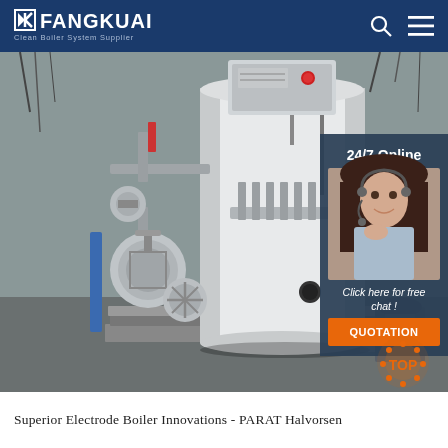FANGKUAI - Clean Boiler System Supplier
[Figure (photo): Industrial electrode boiler in a warehouse/factory setting. A tall white cylindrical boiler vessel on a metal base, with piping connections and valve assemblies on the left side, and an electrical control panel at the top. Adjacent sidebar shows a customer service agent with headset and '24/7 Online', 'Click here for free chat!', and 'QUOTATION' button. A 'TOP' navigation button appears in the lower right.]
Superior Electrode Boiler Innovations - PARAT Halvorsen